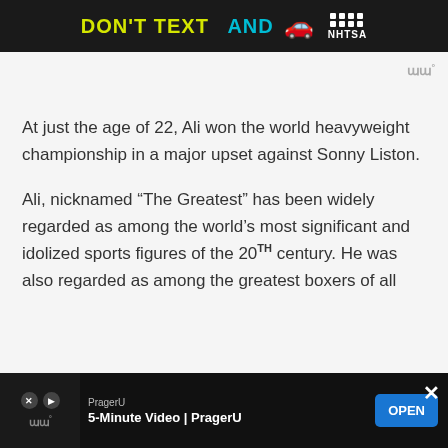[Figure (screenshot): NHTSA 'Don't Text And Drive' advertisement banner with yellow bold text 'DON'T TEXT AND', cyan 'AND', a red car emoji, and the NHTSA logo on a black background]
At just the age of 22, Ali won the world heavyweight championship in a major upset against Sonny Liston.
Ali, nicknamed “The Greatest” has been widely regarded as among the world’s most significant and idolized sports figures of the 20TH century. He was also regarded as among the greatest boxers of all ti[me]...
[Figure (screenshot): PragerU advertisement banner at the bottom: '5-Minute Video | PragerU' with an OPEN button on dark background]